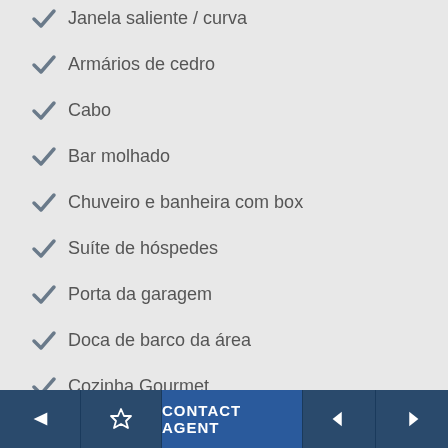Janela saliente / curva
Armários de cedro
Cabo
Bar molhado
Chuveiro e banheira com box
Suíte de hóspedes
Porta da garagem
Doca de barco da área
Cozinha Gourmet
1 lareira
Despensa
CONTACT AGENT